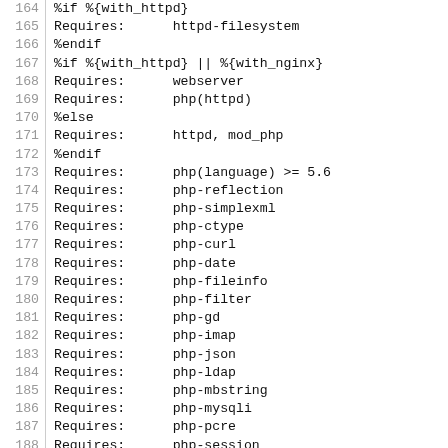164  %if %{with_httpd}
165  Requires:      httpd-filesystem
166  %endif
167  %if %{with_httpd} || %{with_nginx}
168  Requires:      webserver
169  Requires:      php(httpd)
170  %else
171  Requires:      httpd, mod_php
172  %endif
173  Requires:      php(language) >= 5.6
174  Requires:      php-reflection
175  Requires:      php-simplexml
176  Requires:      php-ctype
177  Requires:      php-curl
178  Requires:      php-date
179  Requires:      php-fileinfo
180  Requires:      php-filter
181  Requires:      php-gd
182  Requires:      php-imap
183  Requires:      php-json
184  Requires:      php-ldap
185  Requires:      php-mbstring
186  Requires:      php-mysqli
187  Requires:      php-pcre
188  Requires:      php-session
189  Requires:      php-spl
190  Requires:      php-xml
191  Requires:      php-xmlrpc
192  Requires:      php-zlib
193  Requires:      php-htmLawed
194  ...